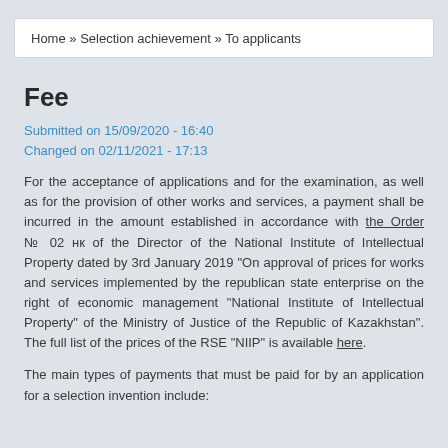Home » Selection achievement » To applicants
Fee
Submitted on 15/09/2020 - 16:40
Changed on 02/11/2021 - 17:13
For the acceptance of applications and for the examination, as well as for the provision of other works and services, a payment shall be incurred in the amount established in accordance with the Order № 02 нк of the Director of the National Institute of Intellectual Property dated by 3rd January 2019 "On approval of prices for works and services implemented by the republican state enterprise on the right of economic management "National Institute of Intellectual Property" of the Ministry of Justice of the Republic of Kazakhstan". The full list of the prices of the RSE "NIIP" is available here.
The main types of payments that must be paid for by an application for a selection invention include: